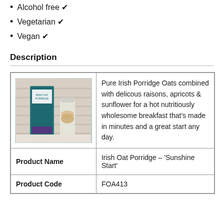Alcohol free ✔
Vegetarian ✔
Vegan ✔
Description
| [product image] | Pure Irish Porridge Oats combined with delicous raisons, apricots & sunflower for a hot nutritiously wholesome breakfast that's made in minutes and a great start any day. |
| Product Name | Irish Oat Porridge - 'Sunshine Start' |
| Product Code | FOA413 |